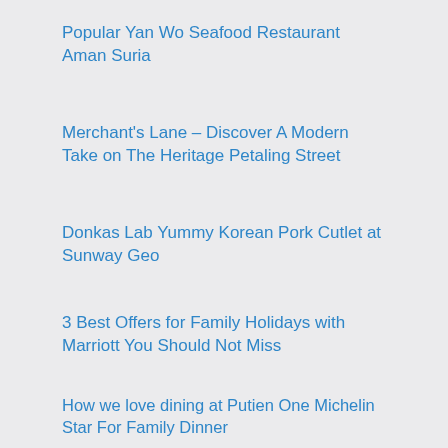Popular Yan Wo Seafood Restaurant Aman Suria
Merchant's Lane – Discover A Modern Take on The Heritage Petaling Street
Donkas Lab Yummy Korean Pork Cutlet at Sunway Geo
3 Best Offers for Family Holidays with Marriott You Should Not Miss
How we love dining at Putien One Michelin Star For Family Dinner